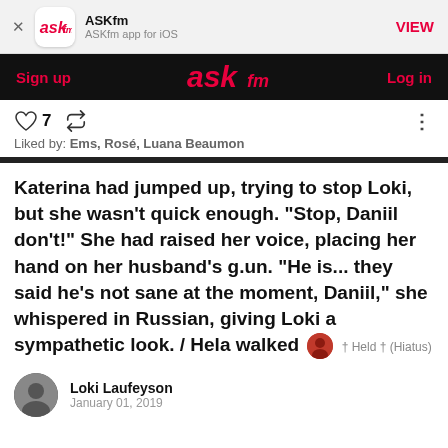ASKfm — ASKfm app for iOS — VIEW
Sign up   ASKfm   Log in
♡ 7  🔄  Liked by: Ems, Rosé, Luana Beaumon
Katerina had jumped up, trying to stop Loki, but she wasn't quick enough. "Stop, Daniil don't!" She had raised her voice, placing her hand on her husband's g.un. "He is... they said he's not sane at the moment, Daniil," she whispered in Russian, giving Loki a sympathetic look. / Hela walked  † Held † (Hiatus)
Loki Laufeyson
January 01, 2019